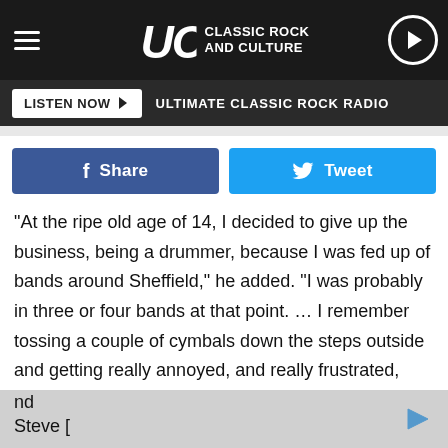UCR Classic Rock and Culture
LISTEN NOW  ULTIMATE CLASSIC ROCK RADIO
Share
Tweet
"At the ripe old age of 14, I decided to give up the business, being a drummer, because I was fed up of bands around Sheffield," he added. "I was probably in three or four bands at that point. … I remember tossing a couple of cymbals down the steps outside and getting really annoyed, and really frustrated, because all the bands that I'd been playing with, all they were interested in was cover songs. And my parents pointed out this article in the newspaper, that said 'Leopard Loses Skins.' … Within minutes they, we, got on the phone, spoke [ad] nd Steve [